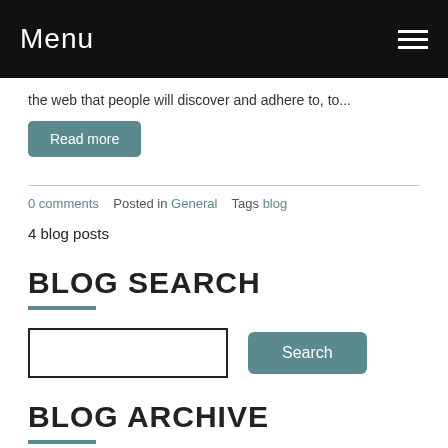Menu
the web that people will discover and adhere to, to...
Read more
0 comments   Posted in General   Tags blog
4 blog posts
BLOG SEARCH
BLOG ARCHIVE